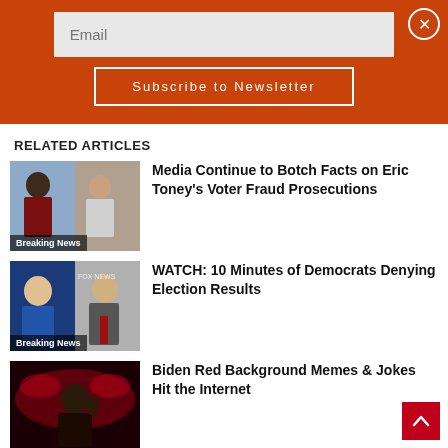Email
Subscribe to Newsletter
RELATED ARTICLES
[Figure (photo): Two men in suits, Breaking News label]
Media Continue to Botch Facts on Eric Toney's Voter Fraud Prosecutions
[Figure (photo): Hillary Clinton and a man in red tie, Breaking News label]
WATCH: 10 Minutes of Democrats Denying Election Results
[Figure (photo): Biden at podium with red background]
Biden Red Background Memes & Jokes Hit the Internet